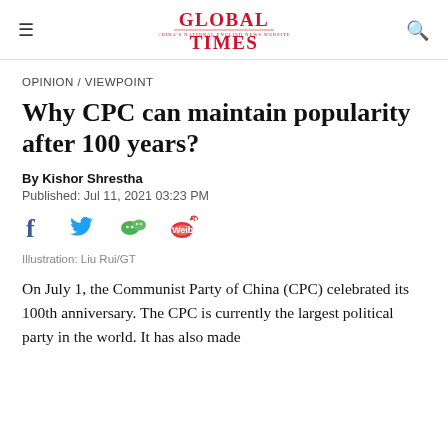Global Times
OPINION / VIEWPOINT
Why CPC can maintain popularity after 100 years?
By Kishor Shrestha
Published: Jul 11, 2021 03:23 PM
[Figure (illustration): Social media sharing icons: Facebook, Twitter, WeChat, Weibo]
Illustration: Liu Rui/GT
On July 1, the Communist Party of China (CPC) celebrated its 100th anniversary. The CPC is currently the largest political party in the world. It has also made